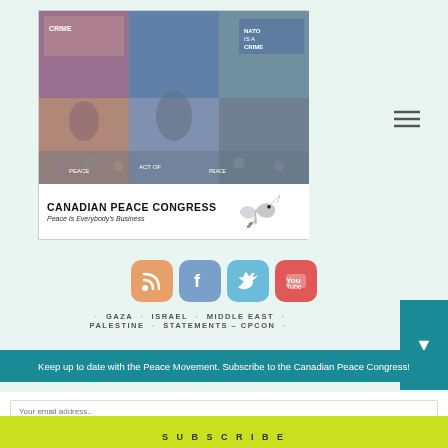[Figure (photo): Collage of protest and peace movement photos showing people holding signs and banners at demonstrations]
CANADIAN PEACE CONGRESS
Peace Is Everybody's Business
[Figure (illustration): Dove peace symbol illustration]
[Figure (infographic): Social media icons: RSS (orange), Facebook (blue), Twitter (teal), YouTube (red)]
· GAZA · ISRAEL · MIDDLE EAST · PALESTINE · STATEMENTS – CPCON ·
Keep up to date with the Peace Movement. Subscribe to the Canadian Peace Congress!
Your email address..
SUBSCRIBE